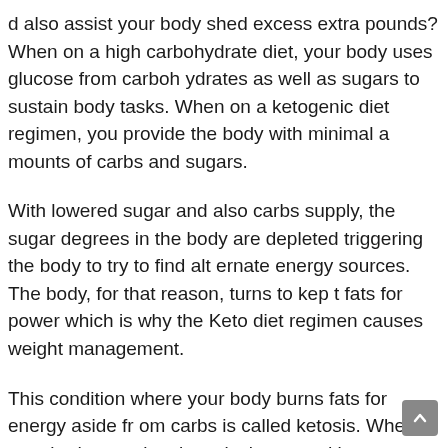d also assist your body shed excess extra pounds? When on a high carbohydrate diet, your body uses glucose from carbohydrates as well as sugars to sustain body tasks. When on a ketogenic diet regimen, you provide the body with minimal amounts of carbs and sugars.
With lowered sugar and also carbs supply, the sugar degrees in the body are depleted triggering the body to try to find alternate energy sources. The body, for that reason, turns to kept fats for power which is why the Keto diet regimen causes weight management.
This condition where your body burns fats for energy aside from carbs is called ketosis. When your body goes into ketosis, it created ketones as the gas source instead of depending on sugar. Ketones and also sugar are the only two source of po